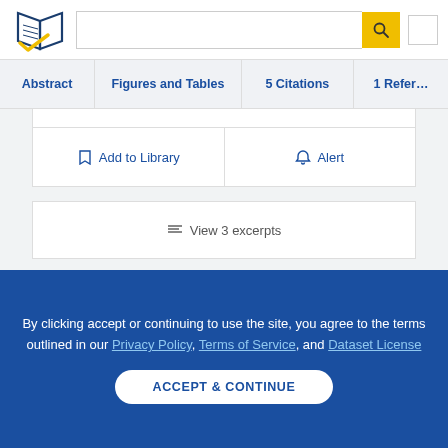[Figure (logo): Semantic Scholar logo - stylized book pages with blue and gold check mark]
Abstract | Figures and Tables | 5 Citations | 1 References
Add to Library | Alert
≡ View 3 excerpts
By clicking accept or continuing to use the site, you agree to the terms outlined in our Privacy Policy, Terms of Service, and Dataset License
ACCEPT & CONTINUE